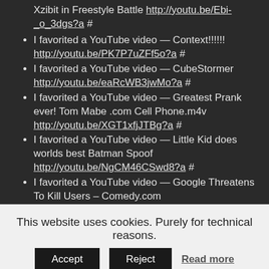Xzibit in Freestyle Battle http://youtu.be/Ebi-_o_3dgs?a #
I favorited a YouTube video — Context!!!!!! http://youtu.be/PK7P7uZFf5o?a #
I favorited a YouTube video — CubeStormer http://youtu.be/eaRcWB3jwMo?a #
I favorited a YouTube video — Greatest Prank ever! Tom Mabe .com Cell Phone.m4v http://youtu.be/XGT1xfjJTBg?a #
I favorited a YouTube video — Little Kid does worlds best Batman Spoof http://youtu.be/NgCM46CSwd8?a #
I favorited a YouTube video — Google Threatens To Kill Users – Comedy.com http://youtu.be/ZGwYrZLvvJU?a #
This website uses cookies. Purely for technical reasons.